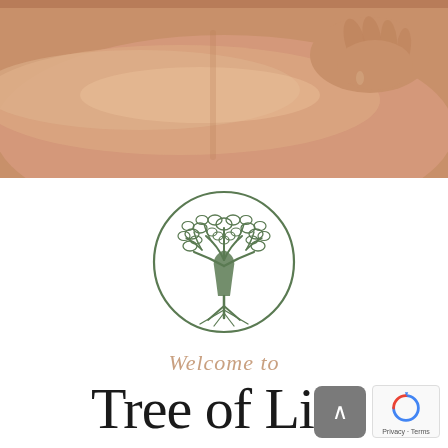[Figure (photo): Close-up photo of a massage therapist's hands pressing on a person's oiled bare back, warm skin tones, spa/wellness setting.]
[Figure (logo): Circular tree of life logo: a detailed tree with roots and full canopy inside a thin circle, rendered in sage green on white background.]
Welcome to
Tree of Life